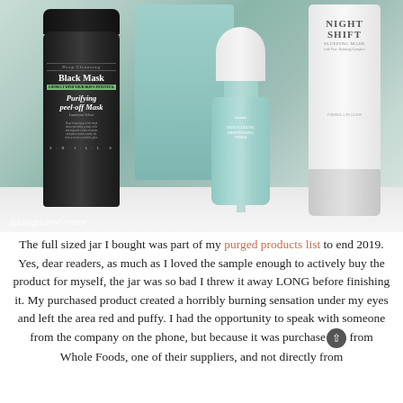[Figure (photo): Photo of several skincare products arranged on a white marble surface: a black tube labeled 'Deep Cleansing Black Mask Purifying peel-off Mask' by SHILLS, a mint green box, a mint/green serum bottle (Botánico brand), and a white tube labeled 'Night Shift Sleeping Mask'. Watermark '@LaughLoveContour' in bottom left corner.]
The full sized jar I bought was part of my purged products list to end 2019. Yes, dear readers, as much as I loved the sample enough to actively buy the product for myself, the jar was so bad I threw it away LONG before finishing it. My purchased product created a horribly burning sensation under my eyes and left the area red and puffy. I had the opportunity to speak with someone from the company on the phone, but because it was purchased from Whole Foods, one of their suppliers, and not directly from